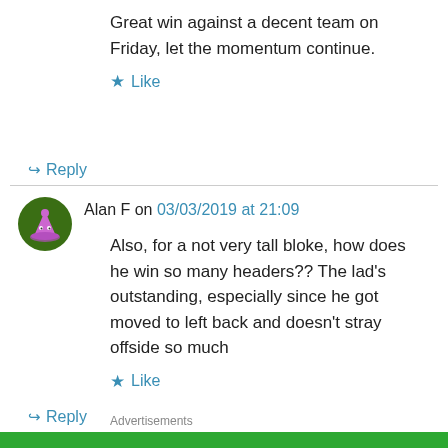Great win against a decent team on Friday, let the momentum continue.
★ Like
↳ Reply
Alan F on 03/03/2019 at 21:09
Also, for a not very tall bloke, how does he win so many headers?? The lad's outstanding, especially since he got moved to left back and doesn't stray offside so much
★ Like
↳ Reply
Advertisements